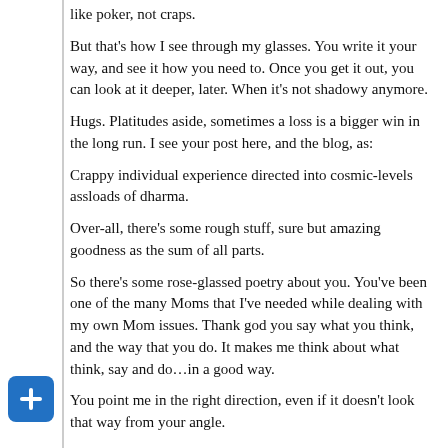like poker, not craps.
But that's how I see through my glasses. You write it your way, and see it how you need to. Once you get it out, you can look at it deeper, later. When it's not shadowy anymore.
Hugs. Platitudes aside, sometimes a loss is a bigger win in the long run. I see your post here, and the blog, as:
Crappy individual experience directed into cosmic-levels assloads of dharma.
Over-all, there's some rough stuff, sure but amazing goodness as the sum of all parts.
So there's some rose-glassed poetry about you. You've been one of the many Moms that I've needed while dealing with my own Mom issues. Thank god you say what you think, and the way that you do. It makes me think about what think, say and do…in a good way.
You point me in the right direction, even if it doesn't look that way from your angle.
Please don't be too quick to judge your effect on the world at large, or your immediate world. I think you underestimate your powers, including your Mom powers. I don't think I'm alone on that vote, but I have learned that my vote should be cast, not hidden.
My Aries Mom would agree. We worked it out in time. I'm still working it out for myself, but that story isn't written yet.